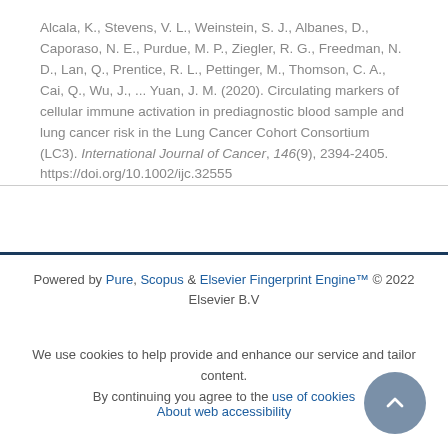Alcala, K., Stevens, V. L., Weinstein, S. J., Albanes, D., Caporaso, N. E., Purdue, M. P., Ziegler, R. G., Freedman, N. D., Lan, Q., Prentice, R. L., Pettinger, M., Thomson, C. A., Cai, Q., Wu, J., ... Yuan, J. M. (2020). Circulating markers of cellular immune activation in prediagnostic blood sample and lung cancer risk in the Lung Cancer Cohort Consortium (LC3). International Journal of Cancer, 146(9), 2394-2405. https://doi.org/10.1002/ijc.32555
Powered by Pure, Scopus & Elsevier Fingerprint Engine™ © 2022 Elsevier B.V
We use cookies to help provide and enhance our service and tailor content. By continuing you agree to the use of cookies
About web accessibility